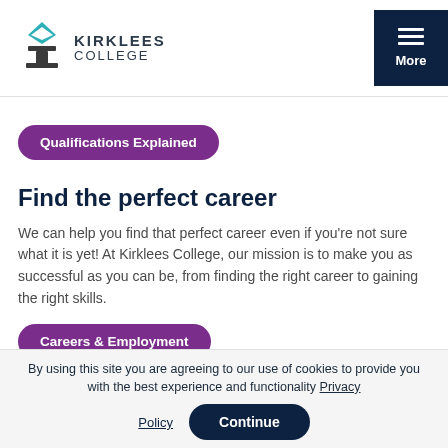Kirklees College — navigation header with logo and More menu button
Qualifications Explained
Find the perfect career
We can help you find that perfect career even if you're not sure what it is yet! At Kirklees College, our mission is to make you as successful as you can be, from finding the right career to gaining the right skills.
Careers & Employment
By using this site you are agreeing to our use of cookies to provide you with the best experience and functionality Privacy Policy
Continue